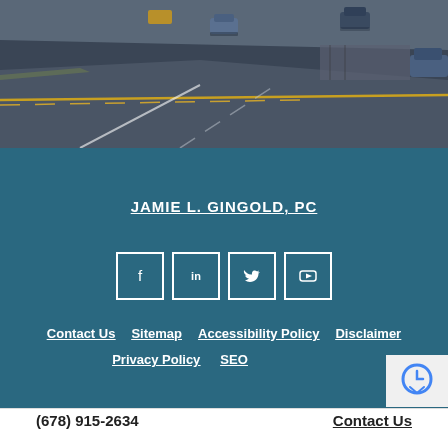[Figure (photo): Arial view of a curved road/highway with several cars visible, photographed from above at an angle, showing road markings and pavement in blue-grey tones]
JAMIE L. GINGOLD, PC
[Figure (other): Social media icons row: Facebook, LinkedIn, Twitter, YouTube — white icons in square outlines on teal background]
Contact Us  Sitemap  Accessibility Policy  Disclaimer  Privacy Policy  SEO
(678) 915-2634
Contact Us